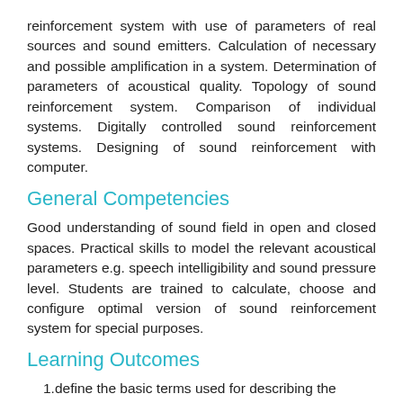reinforcement system with use of parameters of real sources and sound emitters. Calculation of necessary and possible amplification in a system. Determination of parameters of acoustical quality. Topology of sound reinforcement system. Comparison of individual systems. Digitally controlled sound reinforcement systems. Designing of sound reinforcement with computer.
General Competencies
Good understanding of sound field in open and closed spaces. Practical skills to model the relevant acoustical parameters e.g. speech intelligibility and sound pressure level. Students are trained to calculate, choose and configure optimal version of sound reinforcement system for special purposes.
Learning Outcomes
define the basic terms used for describing the sound propagation in space, both open and closed
distinguish between the elements in the sound...